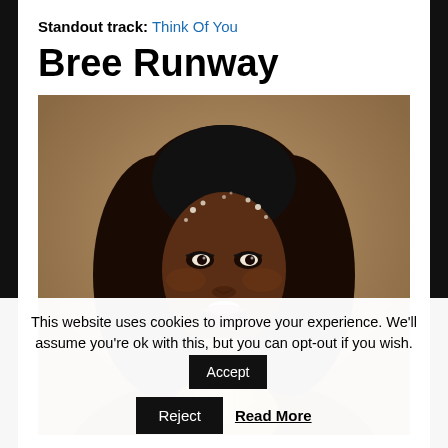Standout track: Think Of You
Bree Runway
[Figure (photo): Portrait photo of Bree Runway, a young Black woman with long dark wavy hair adorned with crystal hair accessories, wearing a sparkly halter top, mouth open, looking toward camera against a warm brown/beige background.]
This website uses cookies to improve your experience. We'll assume you're ok with this, but you can opt-out if you wish. Accept Reject Read More